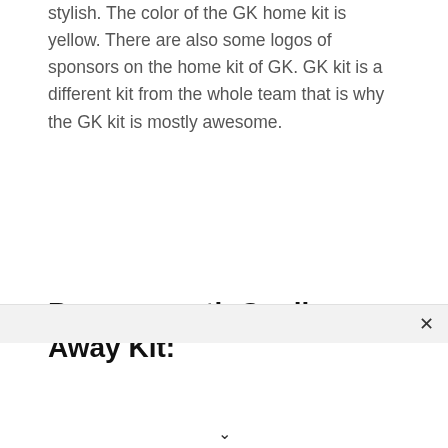stylish. The color of the GK home kit is yellow. There are also some logos of sponsors on the home kit of GK. GK kit is a different kit from the whole team that is why the GK kit is mostly awesome.
Bournemouth Goalkeeper Away Kit: